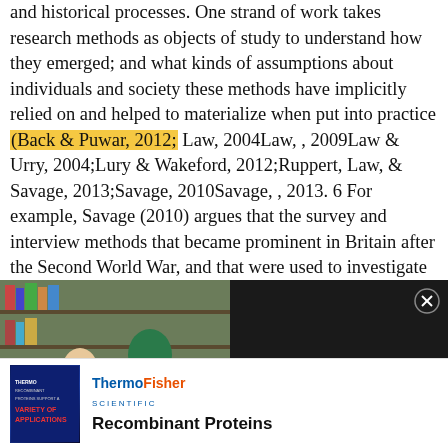and historical processes. One strand of work takes research methods as objects of study to understand how they emerged; and what kinds of assumptions about individuals and society these methods have implicitly relied on and helped to materialize when put into practice (Back & Puwar, 2012; Law, 2004Law, , 2009Law & Urry, 2004;Lury & Wakeford, 2012;Ruppert, Law, & Savage, 2013;Savage, 2010Savage, , 2013. 6 For example, Savage (2010) argues that the survey and interview methods that became prominent in Britain after the Second World War, and that were used to investigate social change, were not simply capturing or representing national identities -rather, they were contributing to the
[Figure (other): Video advertisement overlay: left side shows a video thumbnail of students in a library with play button and text 'HOW YOU CAN USE EMPLOYER BRANDING AS PART OF YOUR RECRUITMENT STRATEGY IN ACADEMIA'; right side black panel reads 'How you can use Employer Branding as part of your recruitment strategy in academia' with close button]
[Figure (other): Thermo Fisher Scientific advertisement for Recombinant Proteins. Shows product booklet image on left and ThermoFisher Scientific logo with 'Recombinant Proteins' text on right.]